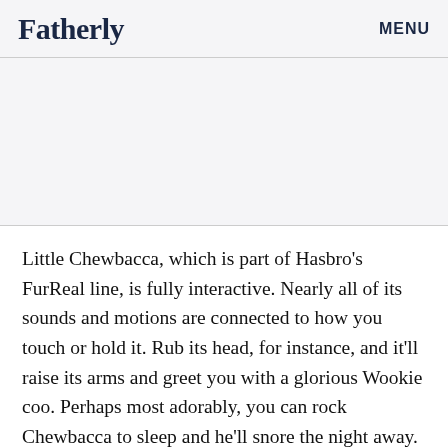Fatherly   MENU
[Figure (other): Advertisement or image placeholder area]
Little Chewbacca, which is part of Hasbro's FurReal line, is fully interactive. Nearly all of its sounds and motions are connected to how you touch or hold it. Rub its head, for instance, and it'll raise its arms and greet you with a glorious Wookie coo. Perhaps most adorably, you can rock Chewbacca to sleep and he'll snore the night away. Chewie will also reportedly have special easter eggs for big Star Wars fans,